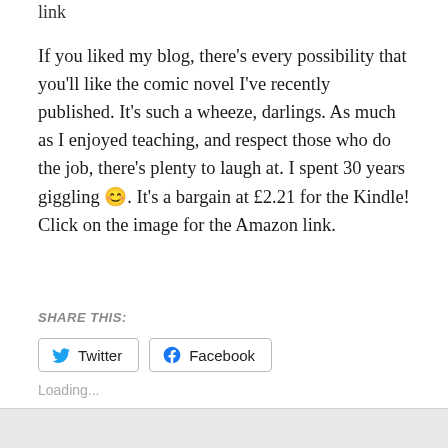link
If you liked my blog, there’s every possibility that you’ll like the comic novel I’ve recently published. It’s such a wheeze, darlings. As much as I enjoyed teaching, and respect those who do the job, there’s plenty to laugh at. I spent 30 years giggling 😊. It’s a bargain at £2.21 for the Kindle! Click on the image for the Amazon link.
SHARE THIS:
Twitter
Facebook
Loading...